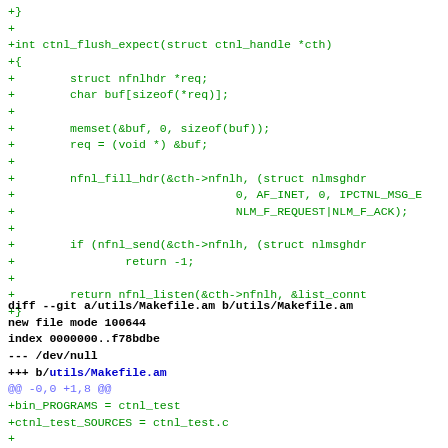+}
+
+int ctnl_flush_expect(struct ctnl_handle *cth)
+{
+        struct nfnlhdr *req;
+        char buf[sizeof(*req)];
+
+        memset(&buf, 0, sizeof(buf));
+        req = (void *) &buf;
+
+        nfnl_fill_hdr(&cth->nfnlh, (struct nlmsghdr
+                                0, AF_INET, 0, IPCTNL_MSG_E
+                                NLM_F_REQUEST|NLM_F_ACK);
+
+        if (nfnl_send(&cth->nfnlh, (struct nlmsghdr
+                return -1;
+
+        return nfnl_listen(&cth->nfnlh, &list_connt
+}
diff --git a/utils/Makefile.am b/utils/Makefile.am
new file mode 100644
index 0000000..f78bdbe
--- /dev/null
+++ b/utils/Makefile.am
@@ -0,0 +1,8 @@
+bin_PROGRAMS = ctnl_test
+ctnl_test_SOURCES = ctnl_test.c
+
+